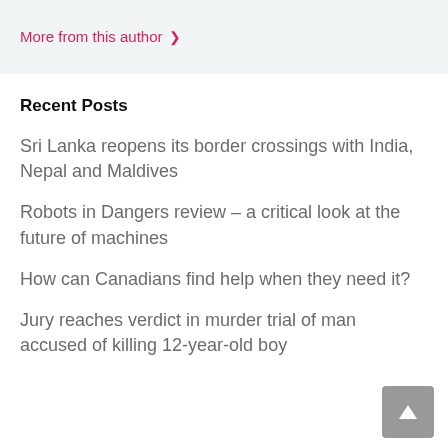More from this author ›
Recent Posts
Sri Lanka reopens its border crossings with India, Nepal and Maldives
Robots in Dangers review – a critical look at the future of machines
How can Canadians find help when they need it?
Jury reaches verdict in murder trial of man accused of killing 12-year-old boy